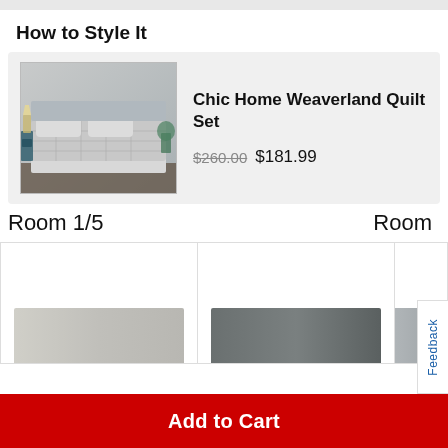How to Style It
[Figure (photo): Chic Home Weaverland Quilt Set product photo showing a gray quilted bed set on a made bed with pillows in a bedroom setting]
Chic Home Weaverland Quilt Set
$260.00 $181.99
Room 1/5
Room
[Figure (photo): Room 1 product thumbnail showing a light gray/white bedding item]
[Figure (photo): Room 2 product thumbnail showing a dark gray bedding item]
Add to Cart